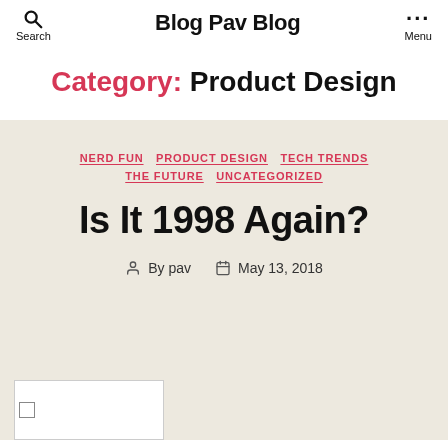Search  Blog Pav Blog  Menu
Category: Product Design
NERD FUN
PRODUCT DESIGN
TECH TRENDS
THE FUTURE
UNCATEGORIZED
Is It 1998 Again?
By pav  May 13, 2018
[Figure (photo): Broken image placeholder at bottom left of beige section]